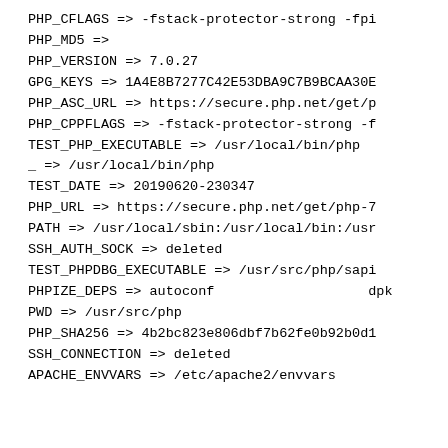PHP_CFLAGS => -fstack-protector-strong -fpi
PHP_MD5 =>
PHP_VERSION => 7.0.27
GPG_KEYS => 1A4E8B7277C42E53DBA9C7B9BCAA30E
PHP_ASC_URL => https://secure.php.net/get/p
PHP_CPPFLAGS => -fstack-protector-strong -f
TEST_PHP_EXECUTABLE => /usr/local/bin/php
_ => /usr/local/bin/php
TEST_DATE => 20190620-230347
PHP_URL => https://secure.php.net/get/php-7
PATH => /usr/local/sbin:/usr/local/bin:/usr
SSH_AUTH_SOCK => deleted
TEST_PHPDBG_EXECUTABLE => /usr/src/php/sapi
PHPIZE_DEPS => autoconf                  dpk
PWD => /usr/src/php
PHP_SHA256 => 4b2bc823e806dbf7b62fe0b92b0d1
SSH_CONNECTION => deleted
APACHE_ENVVARS => /etc/apache2/envvars